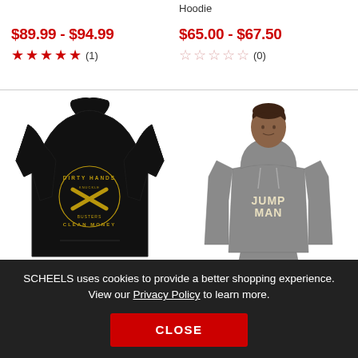Hoodie
$89.99 - $94.99
★★★★★ (1)
$65.00 - $67.50
☆☆☆☆☆ (0)
[Figure (photo): Back view of black hoodie with 'Dirty Hands Knuckle Busters Clean Money' graphic design in gold]
[Figure (photo): Young man wearing gray Jordan hoodie with cream/gold logo graphic]
SCHEELS uses cookies to provide a better shopping experience. View our Privacy Policy to learn more.
CLOSE